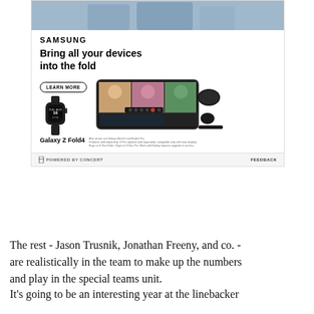[Figure (photo): Samsung advertisement for Galaxy Z Fold4 showing people in store at top, Samsung logo and headline 'Bring all your devices into the fold', Learn More button, and product images including Galaxy Watch, Galaxy Z Fold4 with video call screen, earbuds, and stylus. Footer shows 'POWERED BY CONCERT' and 'FEEDBACK'.]
The rest - Jason Trusnik, Jonathan Freeny, and co. - are realistically in the team to make up the numbers and play in the special teams unit.
It's going to be an interesting year at the linebacker